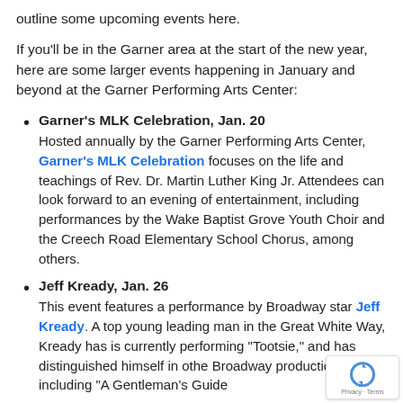outline some upcoming events here.
If you'll be in the Garner area at the start of the new year, here are some larger events happening in January and beyond at the Garner Performing Arts Center:
Garner's MLK Celebration, Jan. 20
Hosted annually by the Garner Performing Arts Center, Garner's MLK Celebration focuses on the life and teachings of Rev. Dr. Martin Luther King Jr. Attendees can look forward to an evening of entertainment, including performances by the Wake Baptist Grove Youth Choir and the Creech Road Elementary School Chorus, among others.
Jeff Kready, Jan. 26
This event features a performance by Broadway star Jeff Kready. A top young leading man in the Great White Way, Kready has is currently performing "Tootsie," and has distinguished himself in othe Broadway productions, including "A Gentleman's Guide